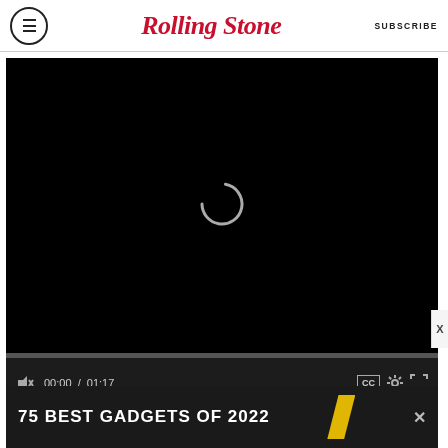RollingStone — SUBSCRIBE
[Figure (screenshot): Video player with black screen showing a loading spinner, progress bar at 00:00 of 01:17, mute icon, CC button, settings gear icon, and fullscreen icon. Below the player is an ad banner reading '75 BEST GADGETS OF 2022'.]